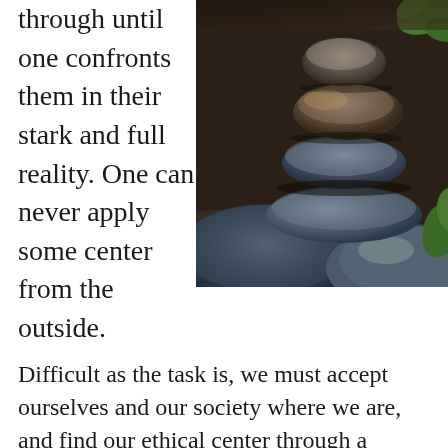through until one confronts them in their stark and full reality. One can never apply some center from the outside.
[Figure (photo): Close-up photograph of balanced stacked smooth river stones/pebbles with green plant leaves visible in the background]
Difficult as the task is, we must accept ourselves and our society where we are, and find our ethical center through a deeper understanding of ourselves as well as through a courageous confronting of our historical situation. In this edification from the outset